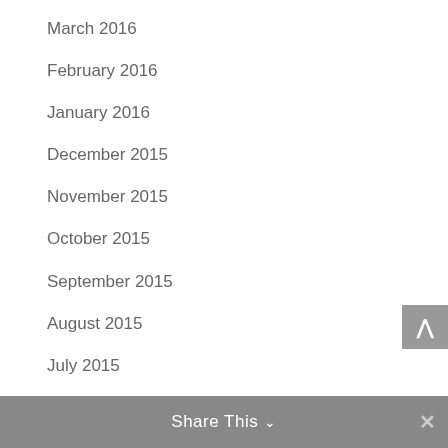March 2016
February 2016
January 2016
December 2015
November 2015
October 2015
September 2015
August 2015
July 2015
June 2015
May 2015
April 2015
March 2015
February 2015
January 2015
Share This
×